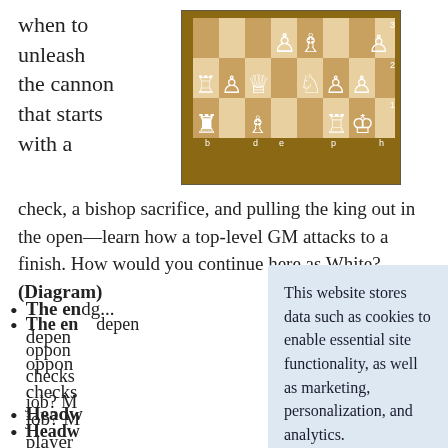when to unleash the cannon that starts with a
[Figure (other): Chess board diagram showing an endgame position with white and black pieces. Numbers 1, 2, 3 on the right edge. Letters b, d, e, p, h on the bottom edge.]
check, a bishop sacrifice, and pulling the king out in the open—learn how a top-level GM attacks to a finish. How would you continue here as White? (Diagram)
The en[dg...] depen[ds...] oppon[ent's...] checks[...] job? M[...]
Headw[ays...] player[s...] tend t[o...] defens[e...] to avoid it.
This website stores data such as cookies to enable essential site functionality, as well as marketing, personalization, and analytics.
Privacy Policy
ACCEPT
DENY